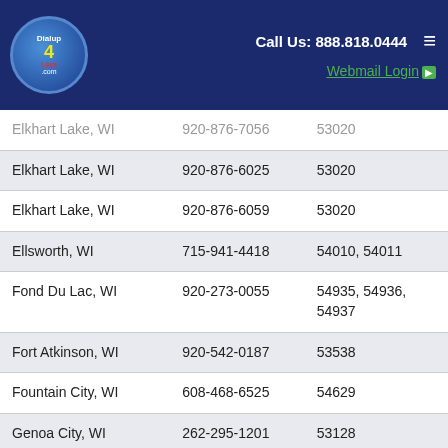Call Us: 888.818.0444 | Webmail Login | Dialup 4 Less logo
| City | Phone | ZIP |
| --- | --- | --- |
| Elkhart Lake, WI | 920-876-7056 | 53020 |
| Elkhart Lake, WI | 920-876-6025 | 53020 |
| Elkhart Lake, WI | 920-876-6059 | 53020 |
| Ellsworth, WI | 715-941-4418 | 54010, 54011 |
| Fond Du Lac, WI | 920-273-0055 | 54935, 54936, 54937 |
| Fort Atkinson, WI | 920-542-0187 | 53538 |
| Fountain City, WI | 608-468-6525 | 54629 |
| Genoa City, WI | 262-295-1201 | 53128 |
| Germantown, WI | 414-716-0056 | 53017, 53022, 53037 |
| Green Bay, WI | 920-884-9638 | 54229, 54302, |